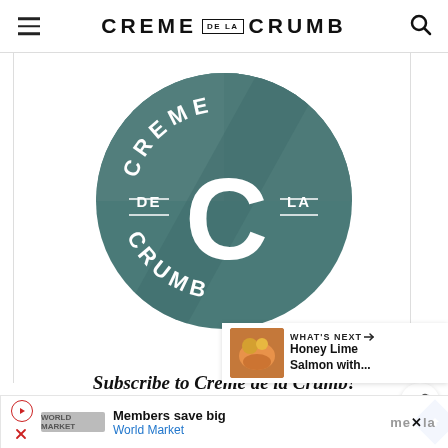CREME DE LA CRUMB
[Figure (logo): Creme de la Crumb circular logo with teal/dark green background, large white letter C in center, text CREME at top arc, CRUMB at bottom arc, DE on left, LA on right]
Subscribe to Creme de la Crumb!
[Figure (infographic): What's Next promo panel with food photo thumbnail and text: Honey Lime Salmon with...]
Members save big
World Market